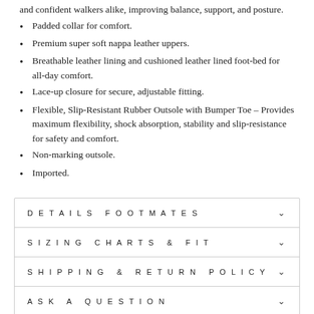and confident walkers alike, improving balance, support, and posture.
Padded collar for comfort.
Premium super soft nappa leather uppers.
Breathable leather lining and cushioned leather lined foot-bed for all-day comfort.
Lace-up closure for secure, adjustable fitting.
Flexible, Slip-Resistant Rubber Outsole with Bumper Toe – Provides maximum flexibility, shock absorption, stability and slip-resistance for safety and comfort.
Non-marking outsole.
Imported.
| DETAILS FOOTMATES | v |
| SIZING CHARTS & FIT | v |
| SHIPPING & RETURN POLICY | v |
| ASK A QUESTION | v |